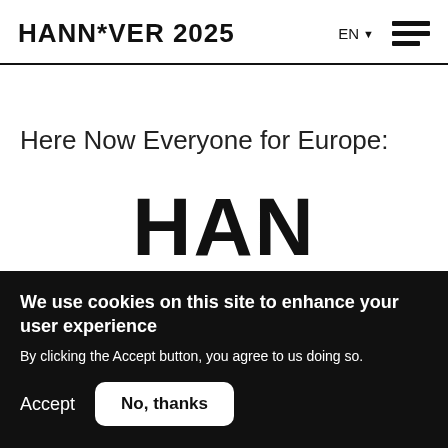HANN*VER 2025
Here Now Everyone for Europe:
[Figure (logo): Large partial text 'HAN' visible at bottom of white area, likely part of HANNOVER 2025 logo]
We use cookies on this site to enhance your user experience
By clicking the Accept button, you agree to us doing so.
Accept
No, thanks